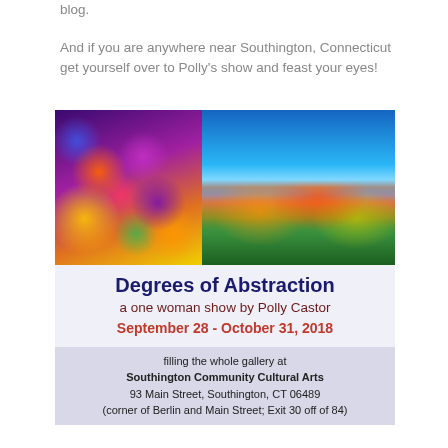blog.
And if you are anywhere near Southington, Connecticut get yourself over to Polly's show and feast your eyes!
[Figure (illustration): Art show flyer for 'Degrees of Abstraction' by Polly Castor. Features two colorful abstract paintings at top (left: colorful circles/bubbles; right: autumn reeds/plants by water). White/light lavender background with title text: 'Degrees of Abstraction', 'a one woman show by Polly Castor', 'September 28 - October 31, 2018'. Footer with gray background: 'filling the whole gallery at Southington Community Cultural Arts, 93 Main Street, Southington, CT 06489 (corner of Berlin and Main Street; Exit 30 off of 84)']